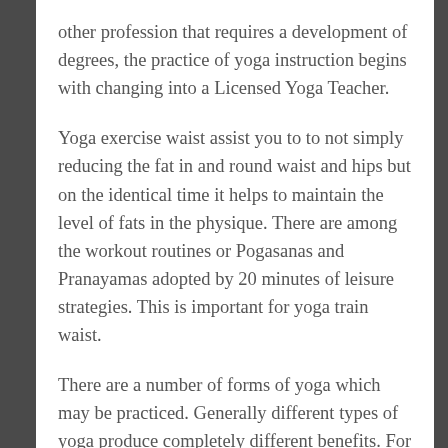other profession that requires a development of degrees, the practice of yoga instruction begins with changing into a Licensed Yoga Teacher.
Yoga exercise waist assist you to to not simply reducing the fat in and round waist and hips but on the identical time it helps to maintain the level of fats in the physique. There are among the workout routines or Pogasanas and Pranayamas adopted by 20 minutes of leisure strategies. This is important for yoga train waist.
There are a number of forms of yoga which may be practiced. Generally different types of yoga produce completely different benefits. For example, Iyengar yoga is for correct bodily alignment, and infrequently utilizes props (together with blocks, straps, or cushions). Bikram yoga is also referred to as hot yoga, because it's